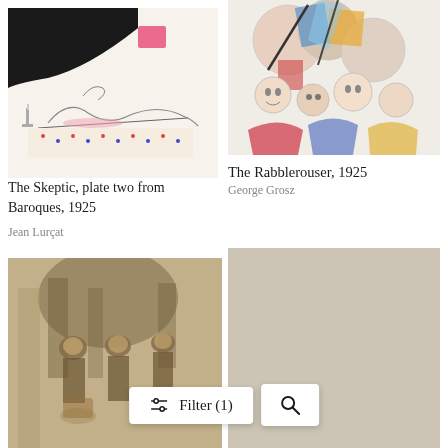[Figure (illustration): Artwork: The Skeptic, plate two from Baroques, 1925 by Jean Lurçat. A line drawing of a reclining nude figure on a patterned blanket with dotted fabric, pink smear, and dark black swooping shape in upper left corner, small candlestick at left.]
The Skeptic, plate two from Baroques, 1925
Jean Lurçat
[Figure (illustration): Artwork: The Rabblerouser, 1925 by George Grosz. A colorful chaotic scene with many faces and figures, bright colors including reds, blues, yellows, showing multiple overlapping faces and abstract shapes.]
The Rabblerouser, 1925
George Grosz
[Figure (photo): A sepia-toned vintage photograph showing several men in hats standing together, blurry and archival in quality.]
[Figure (photo): A beige/tan colored rectangle, partially visible artwork or plain surface.]
Filter (1)